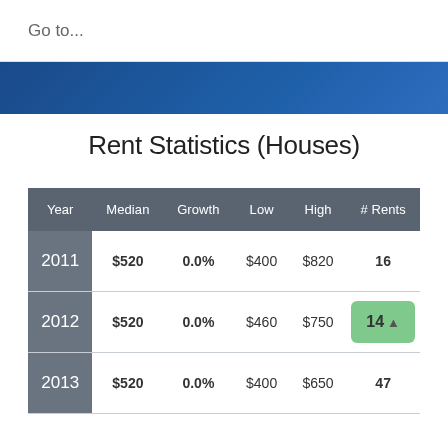Go to...
Rent Statistics (Houses)
| Year | Median | Growth | Low | High | # Rents |
| --- | --- | --- | --- | --- | --- |
| 2011 | $520 | 0.0% | $400 | $820 | 16 |
| 2012 | $520 | 0.0% | $460 | $750 | 14 |
| 2013 | $520 | 0.0% | $400 | $650 | 47 |